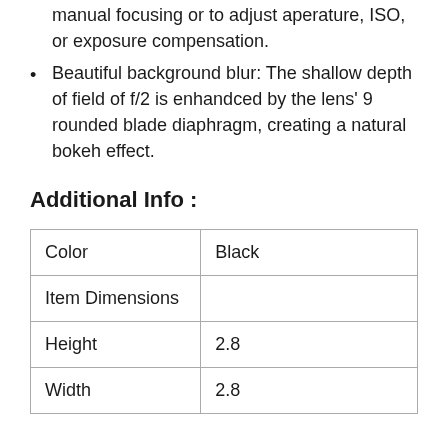manual focusing or to adjust aperature, ISO, or exposure compensation.
Beautiful background blur: The shallow depth of field of f/2 is enhandced by the lens' 9 rounded blade diaphragm, creating a natural bokeh effect.
Additional Info :
|  |  |
| --- | --- |
| Color | Black |
| Item Dimensions |  |
| Height | 2.8 |
| Width | 2.8 |